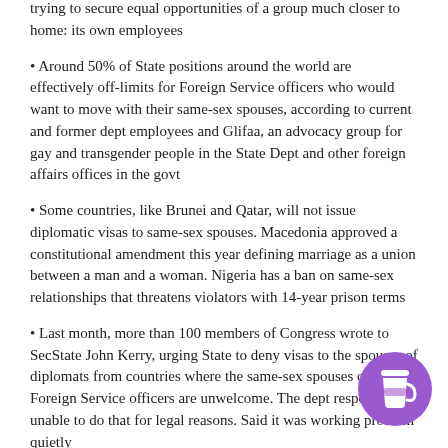trying to secure equal opportunities of a group much closer to home: its own employees
Around 50% of State positions around the world are effectively off-limits for Foreign Service officers who would want to move with their same-sex spouses, according to current and former dept employees and Glifaa, an advocacy group for gay and transgender people in the State Dept and other foreign affairs offices in the govt
Some countries, like Brunei and Qatar, will not issue diplomatic visas to same-sex spouses. Macedonia approved a constitutional amendment this year defining marriage as a union between a man and a woman. Nigeria has a ban on same-sex relationships that threatens violators with 14-year prison terms
Last month, more than 100 members of Congress wrote to SecState John Kerry, urging State to deny visas to the spouses of diplomats from countries where the same-sex spouses of American Foreign Service officers are unwelcome. The dept responded it was unable to do that for legal reasons. Said it was working on the problem quietly